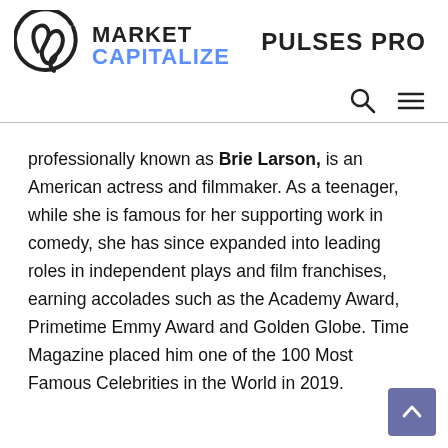[Figure (logo): Market Capitalize logo with cursive M icon, MARKET in black bold, CAPITALIZE in blue bold]
PULSES PRO
professionally known as Brie Larson, is an American actress and filmmaker. As a teenager, while she is famous for her supporting work in comedy, she has since expanded into leading roles in independent plays and film franchises, earning accolades such as the Academy Award, Primetime Emmy Award and Golden Globe. Time Magazine placed him one of the 100 Most Famous Celebrities in the World in 2019.